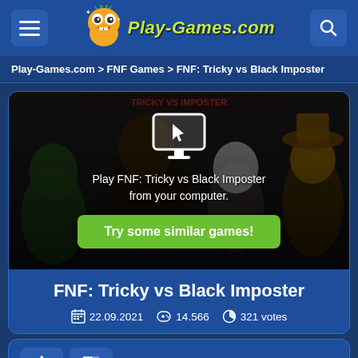Play-Games.com
Play-Games.com > FNF Games > FNF: Tricky vs Black Imposter
[Figure (screenshot): Game thumbnail for FNF: Tricky vs Black Imposter showing dark background with cartoon characters. A monitor icon with cursor is shown with text 'Play FNF: Tricky vs Black Imposter from your computer.' and a green button 'Try some similar games!']
FNF: Tricky vs Black Imposter
22.09.2021   14.566   321 votes
88% likes   12% dislikes